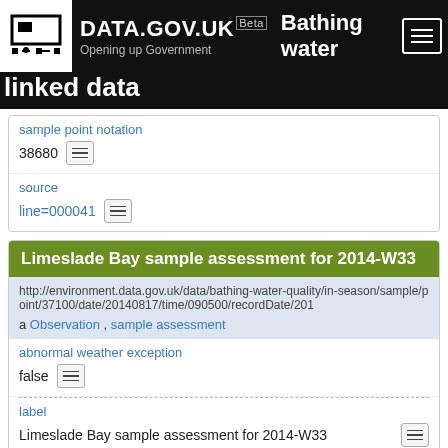DATA.GOV.UK Beta — Bathing water linked data
sample point notation
38680
source
line=000041
Limeslade Bay sample assessment for 2014-W33
http://environment.data.gov.uk/data/bathing-water-quality/in-season/sample/point/37100/date/20140817/time/090500/recordDate/201...
a Observation , sample assessment
abnormal weather exception
false
label
Limeslade Bay sample assessment for 2014-W33
bathing water
Limesl...